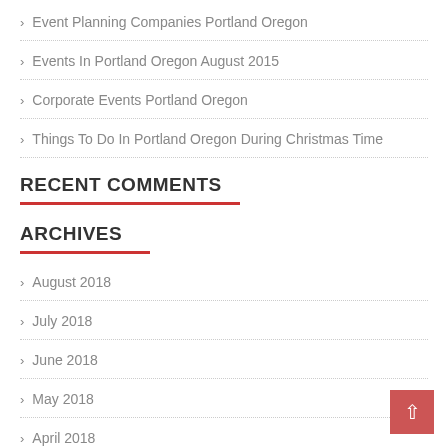Event Planning Companies Portland Oregon
Events In Portland Oregon August 2015
Corporate Events Portland Oregon
Things To Do In Portland Oregon During Christmas Time
RECENT COMMENTS
ARCHIVES
August 2018
July 2018
June 2018
May 2018
April 2018